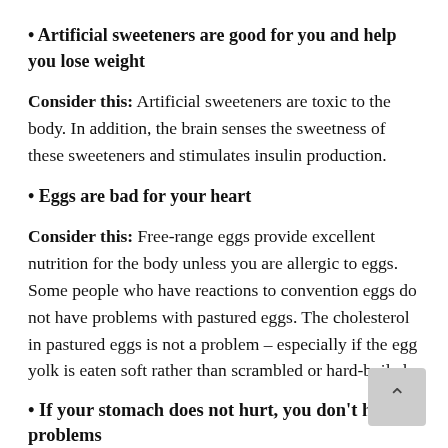• Artificial sweeteners are good for you and help you lose weight
Consider this: Artificial sweeteners are toxic to the body. In addition, the brain senses the sweetness of these sweeteners and stimulates insulin production.
• Eggs are bad for your heart
Consider this: Free-range eggs provide excellent nutrition for the body unless you are allergic to eggs. Some people who have reactions to convention eggs do not have problems with pastured eggs. The cholesterol in pastured eggs is not a problem – especially if the egg yolk is eaten soft rather than scrambled or hard-boiled.
• If your stomach does not hurt, you don't have problems